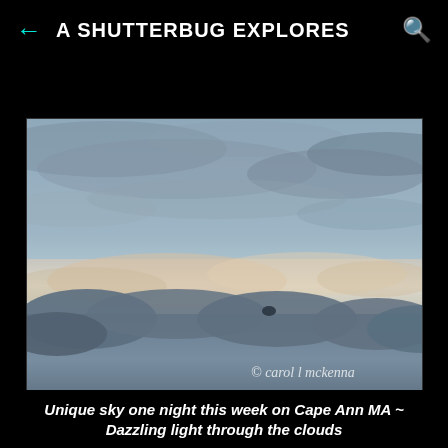A SHUTTERBUG EXPLORES
[Figure (photo): A dramatic cloudy sky photographed at dusk or evening, with bluish-grey clouds and a band of warm pinkish-white light along the horizon. Watermark reads '© carol l mckenna'.]
Unique sky one night this week on Cape Ann MA ~ Dazzling light through the clouds